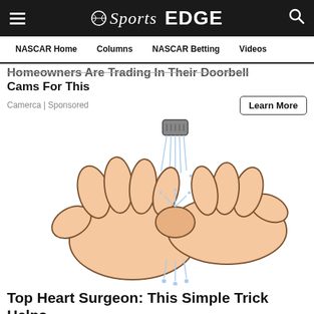NBC Sports EDGE — NASCAR Home | Columns | NASCAR Betting | Videos
Homeowners Are Trading In Their Doorbell Cams For This
Camerca | Sponsored
[Figure (illustration): Illustration of two hands washing under a running faucet/showerhead with water splashing]
Top Heart Surgeon: This Simple Trick Helps